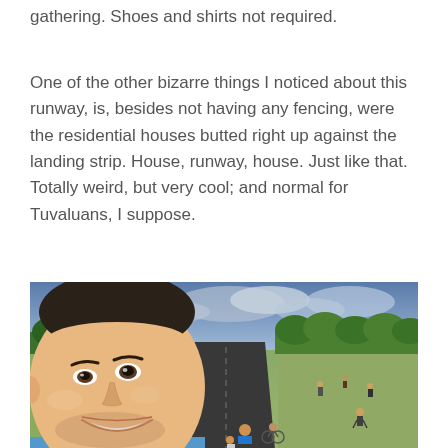gathering. Shoes and shirts not required.
One of the other bizarre things I noticed about this runway, is, besides not having any fencing, were the residential houses butted right up against the landing strip. House, runway, house. Just like that. Totally weird, but very cool; and normal for Tuvaluans, I suppose.
[Figure (photo): Selfie of a smiling man in a light blue shirt on what appears to be an airport runway in Tuvalu, with people sitting and walking on and around the runway in the background, trees on both sides, and a cloudy sky.]